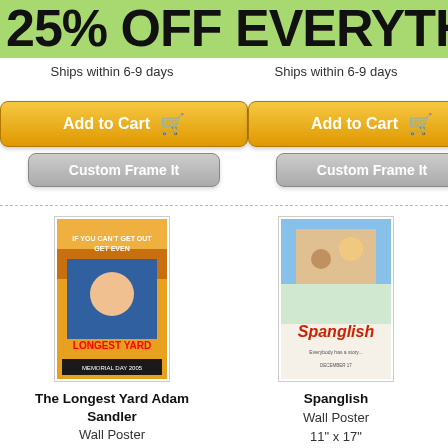25% OFF EVERYTH
Ships within 6-9 days
Ships within 6-9 days
[Figure (screenshot): Add to Cart button (yellow/orange gradient) with shopping cart icon]
[Figure (screenshot): Custom Frame It button (gray gradient)]
[Figure (screenshot): Add to Cart button (yellow/orange gradient) with shopping cart icon]
[Figure (screenshot): Custom Frame It button (gray gradient)]
[Figure (photo): Movie poster for The Longest Yard featuring Adam Sandler in football uniform]
[Figure (photo): Movie poster for Spanglish]
The Longest Yard Adam Sandler
Wall Poster
11" x 17"
$31.99
Ships within 6-9 days
Spanglish
Wall Poster
11" x 17"
$31.99
Ships within 6-9 days